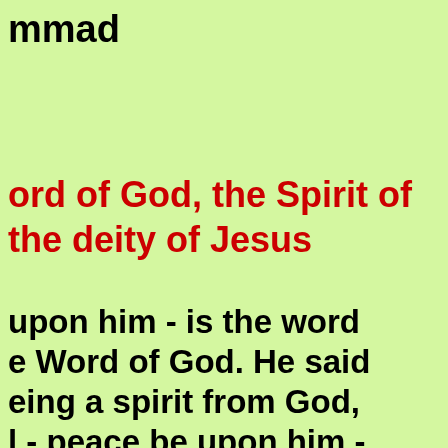mmad
ord of God, the Spirit of the deity of Jesus
upon him - is the word Word of God. He said eing a spirit from God, l - peace be upon him - her. No, as people are ation, and the created